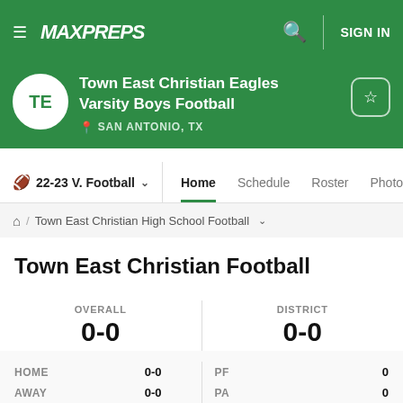MaxPreps — SIGN IN
Town East Christian Eagles
Varsity Boys Football
SAN ANTONIO, TX
22-23 V. Football  Home  Schedule  Roster  Photos
Home / Town East Christian High School Football
Town East Christian Football
| OVERALL | DISTRICT |
| --- | --- |
| 0-0 | 0-0 |
| 0.00 Win % | 1st TCAL (6 Man) |
| HOME | 0-0 | PF | 0 |
| --- | --- | --- | --- |
| AWAY | 0-0 | PA | 0 |
| NEUTRAL | 0-0 | STREAK | - |